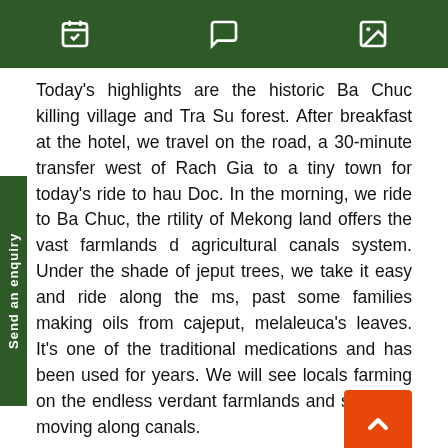[icons: calendar, chat, image]
Today's highlights are the historic Ba Chuc killing village and Tra Su forest. After breakfast at the hotel, we travel on the road, a 30-minute transfer west of Rach Gia to a tiny town for today's ride to hau Doc. In the morning, we ride to Ba Chuc, the rtility of Mekong land offers the vast farmlands d agricultural canals system. Under the shade of jeput trees, we take it easy and ride along the ms, past some families making oils from cajeput, melaleuca's leaves. It's one of the traditional medications and has been used for years. We will see locals farming on the endless verdant farmlands and sampans moving along canals.
Stop at the Ba Chuc village, visit it's memorial that